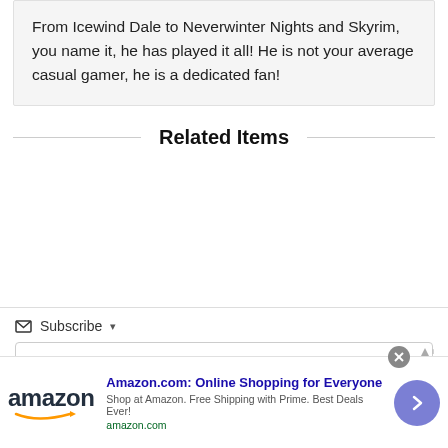From Icewind Dale to Neverwinter Nights and Skyrim, you name it, he has played it all! He is not your average casual gamer, he is a dedicated fan!
Related Items
✉ Subscribe ▾
[Figure (screenshot): Amazon advertisement banner: Amazon logo, headline 'Amazon.com: Online Shopping for Everyone', subtitle 'Shop at Amazon. Free Shipping with Prime. Best Deals Ever!', URL 'amazon.com', and a purple circular arrow button.]